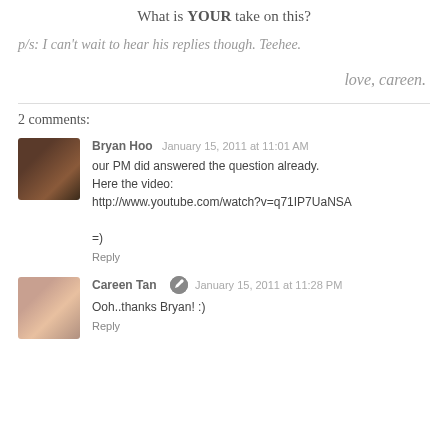What is YOUR take on this?
p/s: I can't wait to hear his replies though. Teehee.
love, careen.
2 comments:
Bryan Hoo  January 15, 2011 at 11:01 AM
our PM did answered the question already.
Here the video:
http://www.youtube.com/watch?v=q71IP7UaNSA

=)
Reply
Careen Tan  January 15, 2011 at 11:28 PM
Ooh..thanks Bryan! :)
Reply